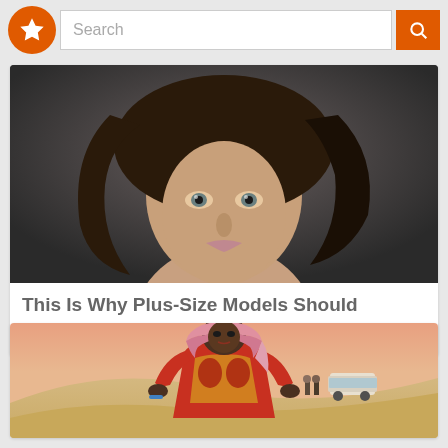Search
[Figure (photo): Close-up portrait of a dark-haired female model with wavy hair against a grey background]
This Is Why Plus-Size Models Should Always Be An Inspiration
[Figure (photo): Woman in colorful red and gold outfit with pink headscarf posing on sand dunes in a desert setting]